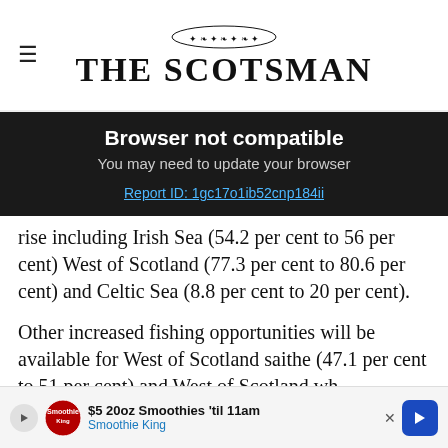THE SCOTSMAN
[Figure (screenshot): Browser not compatible banner overlay on The Scotsman website. Title: 'Browser not compatible'. Subtitle: 'You may need to update your browser'. Link: 'Report ID: 1gc17o1ib52cnp184ii']
rise including Irish Sea (54.2 per cent to 56 per cent) West of Scotland (77.3 per cent to 80.6 per cent) and Celtic Sea (8.8 per cent to 20 per cent).
Other increased fishing opportunities will be available for West of Scotland saithe (47.1 per cent to 51 per cent) and West of Scotland wh
[Figure (infographic): Advertisement banner at bottom: '$5 20oz Smoothies til 11am' from Smoothie King with play button, logo, and directional arrow button.]